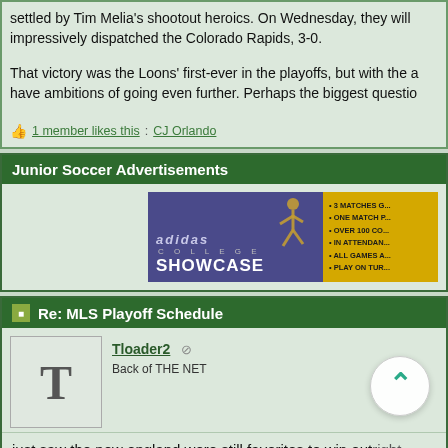settled by Tim Melia's shootout heroics. On Wednesday, they will face... impressively dispatched the Colorado Rapids, 3-0.

That victory was the Loons' first-ever in the playoffs, but with the a... have ambitions of going even further. Perhaps the biggest question...
1 member likes this: CJ Orlando
Junior Soccer Advertisements
[Figure (other): Adidas College Showcase advertisement banner with player silhouette and yellow bullet-point list reading: 3 MATCHES G... ONE MATCH P... OVER 100 CO... IN ATTENDAN... ALL GAMES A... PLAY ON TUR...]
Re: MLS Playoff Schedule
Tloader2
Back of THE NET
just saw the new england were still favorites to win outright...
https://www.sportsbetting3.com/soccer/usa-major-league-soc...